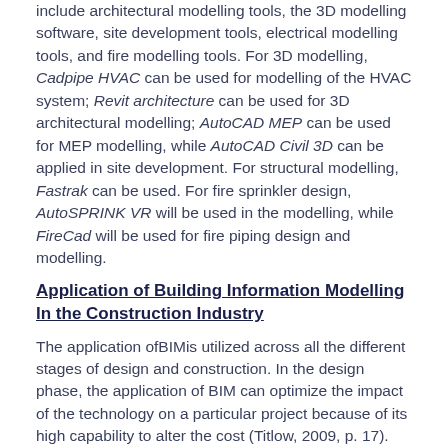include architectural modelling tools, the 3D modelling software, site development tools, electrical modelling tools, and fire modelling tools. For 3D modelling, Cadpipe HVAC can be used for modelling of the HVAC system; Revit architecture can be used for 3D architectural modelling; AutoCAD MEP can be used for MEP modelling, while AutoCAD Civil 3D can be applied in site development. For structural modelling, Fastrak can be used. For fire sprinkler design, AutoSPRINK VR will be used in the modelling, while FireCad will be used for fire piping design and modelling.
Application of Building Information Modelling In the Construction Industry
The application ofBIMis utilized across all the different stages of design and construction. In the design phase, the application of BIM can optimize the impact of the technology on a particular project because of its high capability to alter the cost (Titlow, 2009, p. 17). The project team can also come up with different ideas concerning the project and hence provide solutions for various challenges that may arise as the project progresses. Cost control in a project can also be achieved through the cooperation and coordination of the